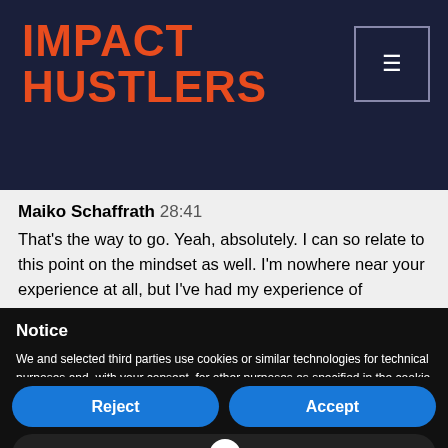IMPACT HUSTLERS
Maiko Schaffrath 28:41
That's the way to go. Yeah, absolutely. I can so relate to this point on the mindset as well. I'm nowhere near your experience at all, but I've had my experience of
Notice
We and selected third parties use cookies or similar technologies for technical purposes and, with your consent, for other purposes as specified in the cookie policy. Denying consent may make related features unavailable.
Use the "Accept" button to consent to the use of such technologies. Use the "Reject" button to continue without accepting.
Reject
Accept
Learn mo ustomize